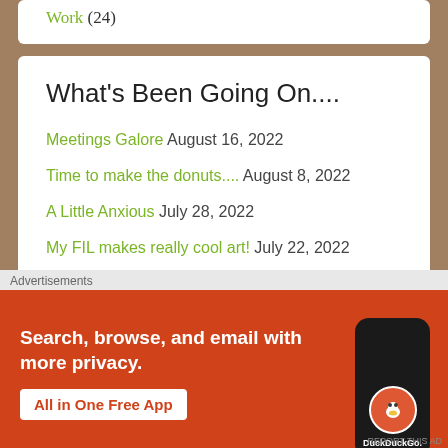Work (24)
What's Been Going On....
Meetings Galore August 16, 2022
Time to make the donuts.... August 8, 2022
A Little Anxious July 28, 2022
My FIL makes really cool art! July 22, 2022
Advertisements
[Figure (screenshot): DuckDuckGo advertisement banner: orange background with text 'Search, browse, and email with more privacy. All in One Free App' and a phone graphic showing the DuckDuckGo app logo]